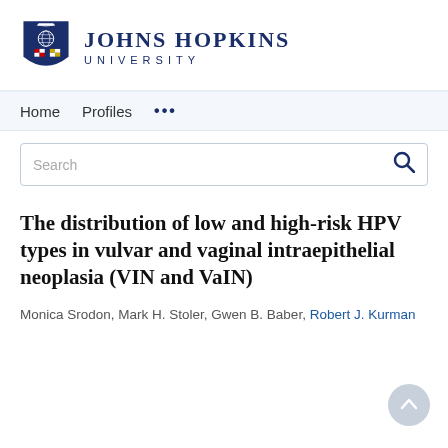[Figure (logo): Johns Hopkins University logo with shield and text]
Home   Profiles   ...
Search
The distribution of low and high-risk HPV types in vulvar and vaginal intraepithelial neoplasia (VIN and VaIN)
Monica Srodon, Mark H. Stoler, Gwen B. Baber, Robert J. Kurman